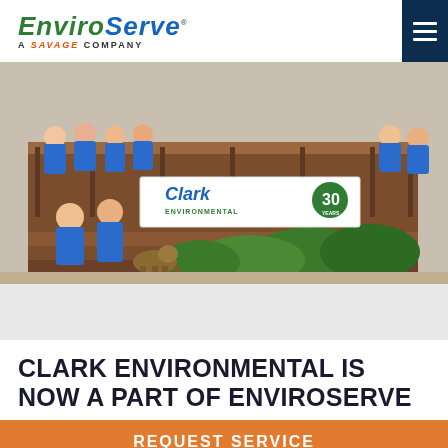EnviroServe – A Savage Company
[Figure (photo): Group photo of Clark Environmental staff in blue shirts standing on wooden deck steps, holding a banner reading 'Clark Environmental 30 Years', with a German Shepherd dog in front and green bushes in background.]
CLARK ENVIRONMENTAL IS NOW A PART OF ENVIROSERVE
REQUEST SERVICE